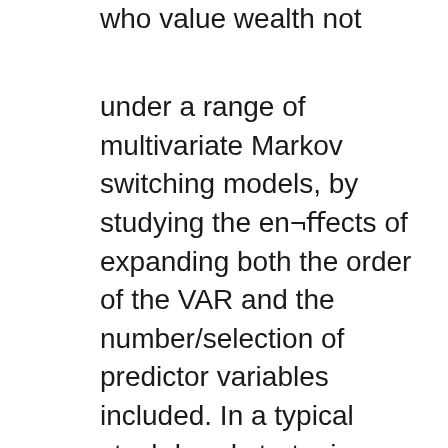who value wealth not
under a range of multivariate Markov switching models, by studying the en¬ﬀects of expanding both the order of the VAR and the number/selection of predictor variables included. In a typical stock-bond strategic asset allocation problem on US data, we compute the out-of-sample certainty equivalent returns for a wide range of VARs and compare these measures of performance with those typical of Asset allocation is the process of dividing investments among different kinds of asset categories, such as stocks, bonds, real estate, and cash, to achieve a feasible combination of risk and reward